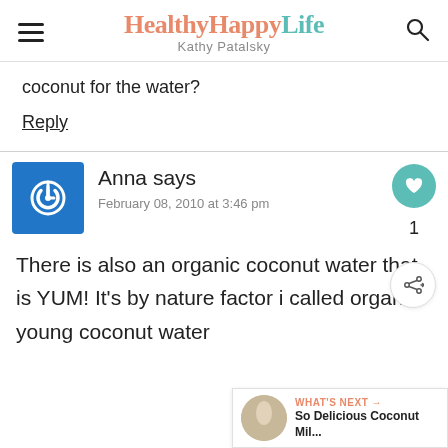HealthyHappyLife — Kathy Patalsky
coconut for the water?
Reply
Anna says
February 08, 2010 at 3:46 pm
There is also an organic coconut water that is YUM! It's by nature factor i called organic young coconut water